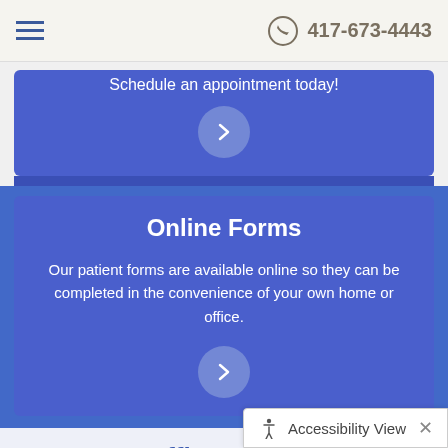417-673-4443
Schedule an appointment today!
Online Forms
Our patient forms are available online so they can be completed in the convenience of your own home or office.
Office Hours
| Day | Hours |
| --- | --- |
| Monday: | 7:45 am–5:15 pm |